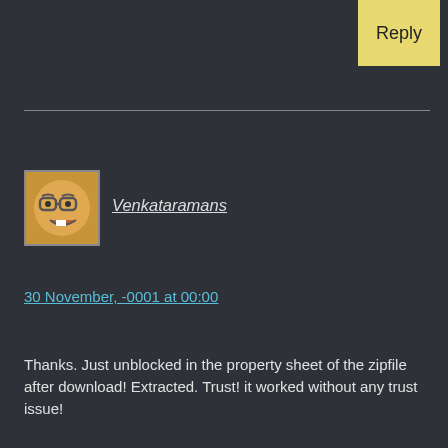Reply
Venkataramans
30 November, -0001 at 00:00
Thanks. Just unblocked in the property sheet of the zipfile after download! Extracted. Trust! it worked without any trust issue!
Privacy & Cookies: This site uses cookies. By continuing to use this website, you agree to their use. To find out more, including how to control cookies, see here: Cookie Policy
Close and accept